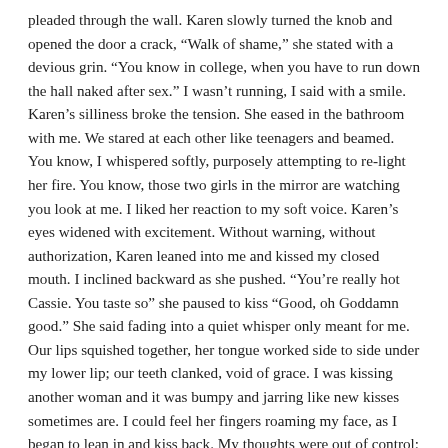pleaded through the wall. Karen slowly turned the knob and opened the door a crack, "Walk of shame," she stated with a devious grin. "You know in college, when you have to run down the hall naked after sex." I wasn't running, I said with a smile. Karen's silliness broke the tension. She eased in the bathroom with me. We stared at each other like teenagers and beamed. You know, I whispered softly, purposely attempting to re-light her fire. You know, those two girls in the mirror are watching you look at me. I liked her reaction to my soft voice. Karen's eyes widened with excitement. Without warning, without authorization, Karen leaned into me and kissed my closed mouth. I inclined backward as she pushed. "You're really hot Cassie. You taste so" she paused to kiss "Good, oh Goddamn good." She said fading into a quiet whisper only meant for me. Our lips squished together, her tongue worked side to side under my lower lip; our teeth clanked, void of grace. I was kissing another woman and it was bumpy and jarring like new kisses sometimes are. I could feel her fingers roaming my face, as I began to lean in and kiss back. My thoughts were out of control; my mind